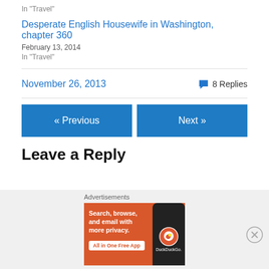In "Travel"
Desperate English Housewife in Washington, chapter 360
February 13, 2014
In "Travel"
November 26, 2013   8 Replies
« Previous
Next »
Leave a Reply
Advertisements
[Figure (other): DuckDuckGo advertisement banner: 'Search, browse, and email with more privacy. All in One Free App' with DuckDuckGo logo on phone]